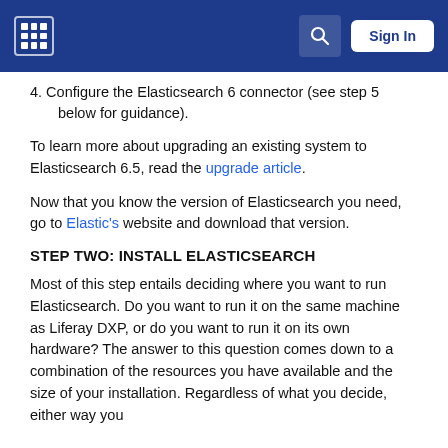Liferay logo | Search | Sign In
4. Configure the Elasticsearch 6 connector (see step 5 below for guidance).
To learn more about upgrading an existing system to Elasticsearch 6.5, read the upgrade article.
Now that you know the version of Elasticsearch you need, go to Elastic's website and download that version.
STEP TWO: INSTALL ELASTICSEARCH
Most of this step entails deciding where you want to run Elasticsearch. Do you want to run it on the same machine as Liferay DXP, or do you want to run it on its own hardware? The answer to this question comes down to a combination of the resources you have available and the size of your installation. Regardless of what you decide, either way you